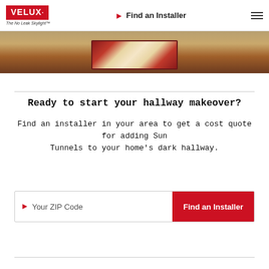VELUX · The No Leak Skylight™ | Find an Installer
[Figure (photo): Partial view of a decorative patterned rug on a staircase or hallway floor, warm tones]
Ready to start your hallway makeover?
Find an installer in your area to get a cost quote for adding Sun Tunnels to your home's dark hallway.
Your ZIP Code | Find an Installer